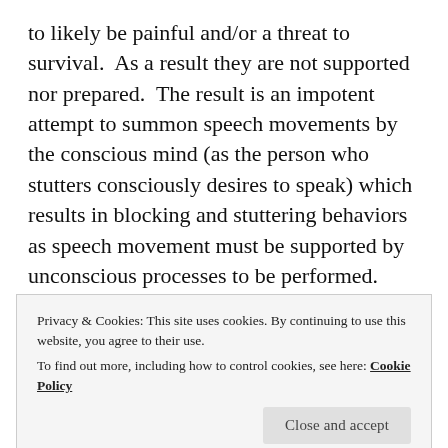to likely be painful and/or a threat to survival.  As a result they are not supported nor prepared.  The result is an impotent attempt to summon speech movements by the conscious mind (as the person who stutters consciously desires to speak) which results in blocking and stuttering behaviors as speech movement must be supported by unconscious processes to be performed.  These unconscious processes factor in the environment and the calculations change from moment to moment based on environmental changes etc.  Treatment for stuttering should focus on changing the unconscious
Privacy & Cookies: This site uses cookies. By continuing to use this website, you agree to their use.
To find out more, including how to control cookies, see here: Cookie Policy
expectation of pain.  Many have hypothesized on the